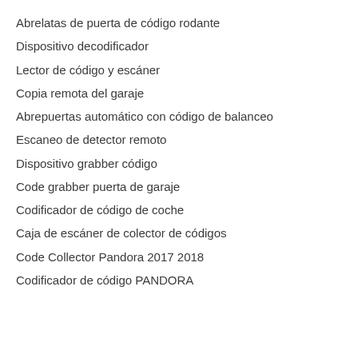Abrelatas de puerta de código rodante
Dispositivo decodificador
Lector de código y escáner
Copia remota del garaje
Abrepuertas automático con código de balanceo
Escaneo de detector remoto
Dispositivo grabber código
Code grabber puerta de garaje
Codificador de código de coche
Caja de escáner de colector de códigos
Code Collector Pandora 2017 2018
Codificador de código PANDORA